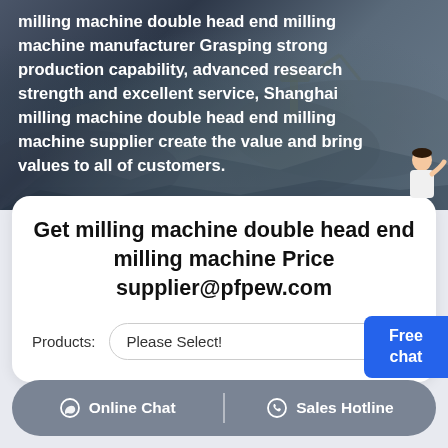[Figure (photo): Aerial view of a rocky quarry/mining site with heavy machinery, used as background image for industrial machinery supplier website]
milling machine double head end milling machine manufacturer Grasping strong production capability, advanced research strength and excellent service, Shanghai milling machine double head end milling machine supplier create the value and bring values to all of customers.
[Figure (photo): Customer service representative icon in the top-right corner with 'Free chat' blue button]
Get milling machine double head end milling machine Price supplier@pfpew.com
Products: Please Select!
Online Chat | Sales Hotline